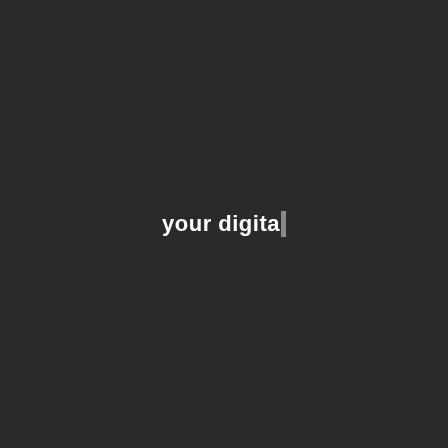[Figure (logo): Logo or brand mark on dark background reading 'your digital' with a grey cursor bar after the last letter, white bold sans-serif text]